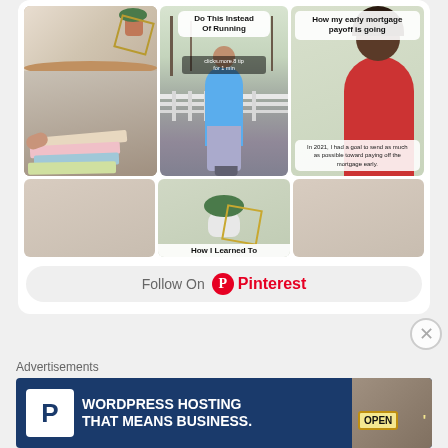[Figure (screenshot): Pinterest widget showing a 3-column grid of pins. Top row: left pin shows craft/notebooks on marble surface, middle pin shows person in teal shirt with text 'Do This Instead Of Running', right pin shows woman in red shirt with text 'How my early mortgage payoff is going' and overlay 'In 2021, I had a goal to send as much as possible toward paying off the mortgage early.' Bottom row shows three partially visible pins including one with plant and text 'How I Learned To'. Below the grid is a 'Follow On Pinterest' button.]
Follow On Pinterest
Advertisements
[Figure (screenshot): Advertisement banner for WordPress hosting with dark blue background. Shows a white 'P' logo box on left, text 'WORDPRESS HOSTING THAT MEANS BUSINESS.' in white bold, and a photo of an OPEN sign on the right.]